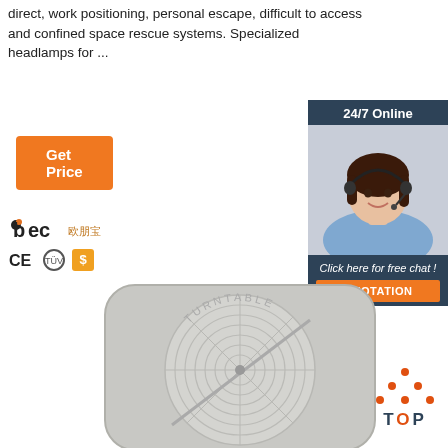direct, work positioning, personal escape, difficult to access and confined space rescue systems. Specialized headlamps for ...
[Figure (other): Orange 'Get Price' button]
[Figure (other): 24/7 Online chat widget with female agent photo, 'Click here for free chat!' text and orange QUOTATION button]
[Figure (logo): BEC brand logo with CE, certification, and gold supplier icons]
[Figure (photo): Circular turntable product with concentric rings and TURNTABLE text embossed, gray/silver color]
[Figure (other): TOP navigation button with orange dots triangle icon]